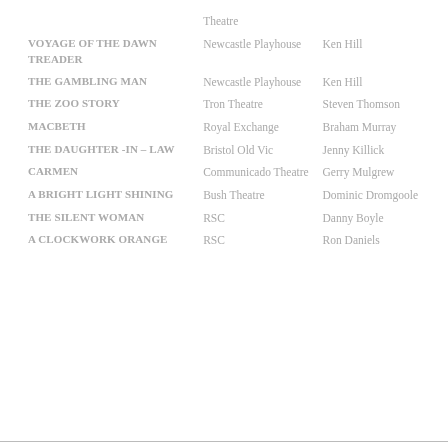|  | Theatre |  |
| --- | --- | --- |
| VOYAGE OF THE DAWN TREADER | Newcastle Playhouse | Ken Hill |
| THE GAMBLING MAN | Newcastle Playhouse | Ken Hill |
| THE ZOO STORY | Tron Theatre | Steven Thomson |
| MACBETH | Royal Exchange | Braham Murray |
| THE DAUGHTER -IN – LAW | Bristol Old Vic | Jenny Killick |
| CARMEN | Communicado Theatre | Gerry Mulgrew |
| A BRIGHT LIGHT SHINING | Bush Theatre | Dominic Dromgoole |
| THE SILENT WOMAN | RSC | Danny Boyle |
| A CLOCKWORK ORANGE | RSC | Ron Daniels |